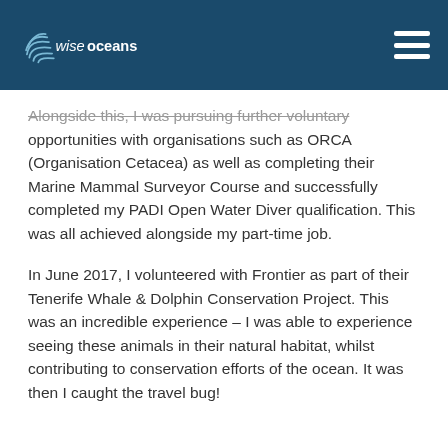wiseoceans
Alongside this, I was pursuing further voluntary opportunities with organisations such as ORCA (Organisation Cetacea) as well as completing their Marine Mammal Surveyor Course and successfully completed my PADI Open Water Diver qualification. This was all achieved alongside my part-time job.
In June 2017, I volunteered with Frontier as part of their Tenerife Whale & Dolphin Conservation Project. This was an incredible experience – I was able to experience seeing these animals in their natural habitat, whilst contributing to conservation efforts of the ocean. It was then I caught the travel bug!